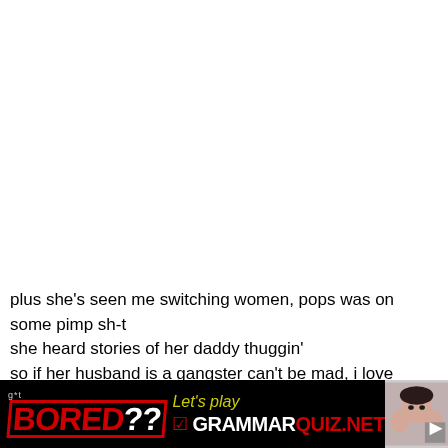plus she's seen me switching women, pops was on some pimp sh-t
she heard stories of her daddy thuggin'
so if her husband is a gangster can't be mad, i love her never, for her i want better, homie in jail- dead that
wait till he come home, you can see where his head's a
[Figure (infographic): Black banner advertisement at bottom. Left side shows 'g*t' text above 'BORED??' in red bold distressed font with border. Center shows 'Let's play' in yellow italic and 'GRAMMARQUIZ.NET' in white/red bold text with checkbox icon. Right side shows a person's face (woman with hands on cheeks) with a navigation arrow button.]